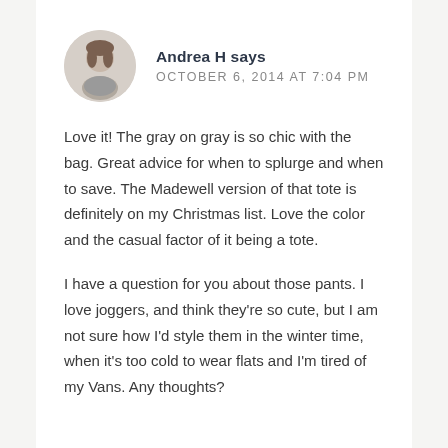Andrea H says
OCTOBER 6, 2014 AT 7:04 PM
Love it! The gray on gray is so chic with the bag. Great advice for when to splurge and when to save. The Madewell version of that tote is definitely on my Christmas list. Love the color and the casual factor of it being a tote.
I have a question for you about those pants. I love joggers, and think they’re so cute, but I am not sure how I’d style them in the winter time, when it’s too cold to wear flats and I’m tired of my Vans. Any thoughts?